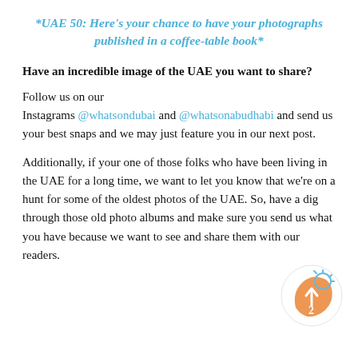*UAE 50: Here's your chance to have your photographs published in a coffee-table book*
Have an incredible image of the UAE you want to share?
Follow us on our Instagrams @whatsondubai and @whatsonabudhabi and send us your best snaps and we may just feature you in our next post.
Additionally, if your one of those folks who have been living in the UAE for a long time, we want to let you know that we're on a hunt for some of the oldest photos of the UAE. So, have a dig through those old photo albums and make sure you send us what you have because we want to see and share them with our readers.
[Figure (logo): Circular logo with orange and blue design showing an upward arrow and the number 2, representing a news/media brand]